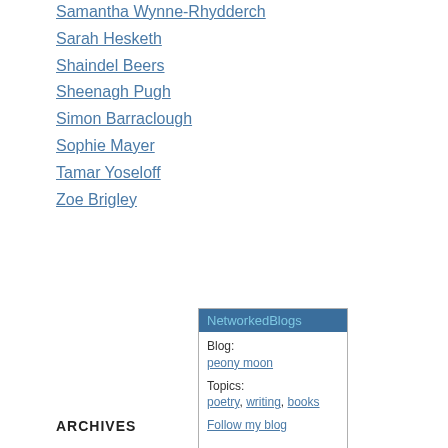Samantha Wynne-Rhydderch
Sarah Hesketh
Shaindel Beers
Sheenagh Pugh
Simon Barraclough
Sophie Mayer
Tamar Yoseloff
Zoe Brigley
NetworkedBlogs
Blog:
peony moon
Topics:
poetry, writing, books
Follow my blog
ARCHIVES